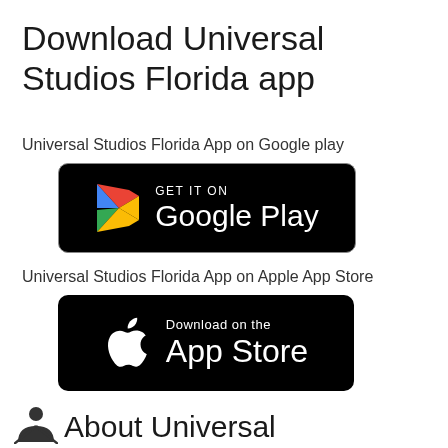Download Universal Studios Florida app
Universal Studios Florida App on Google play
[Figure (logo): Google Play Store badge — black rounded rectangle with Google Play logo (colorful triangle play icon) and white text 'GET IT ON Google Play']
Universal Studios Florida App on Apple App Store
[Figure (logo): Apple App Store badge — black rounded rectangle with white Apple logo and white text 'Download on the App Store']
About Universal